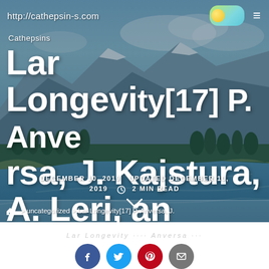http://cathepsin-s.com
Cathepsins
Lar Longevity[17] P. Anversa, J. Kajstura, A. Leri, and R. Bolli, 'Life and demise of
DECEMBER 10, 2019   UPDATED DECEMBER 10, 2019   2 MIN READ
> uncategorized > Lar Longevity[17] P. Anversa, J.